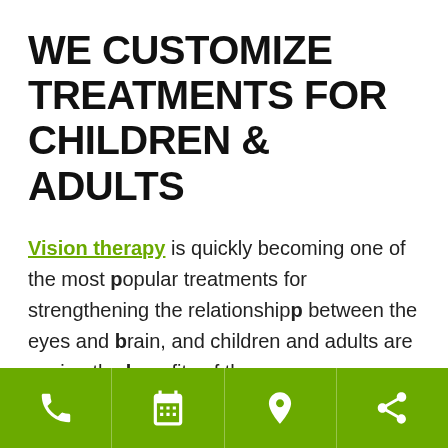WE CUSTOMIZE TREATMENTS FOR CHILDREN & ADULTS
Vision therapy is quickly becoming one of the most popular treatments for strengthening the relationship between the eyes and brain, and children and adults are seeing the benefits of these programs.
We build your entire vision therapy plan custom to your needs. When we do, we look at the various
[Figure (infographic): Green footer bar with four icon buttons: phone, calendar/grid, map pin/location, and share icons in white on green background]